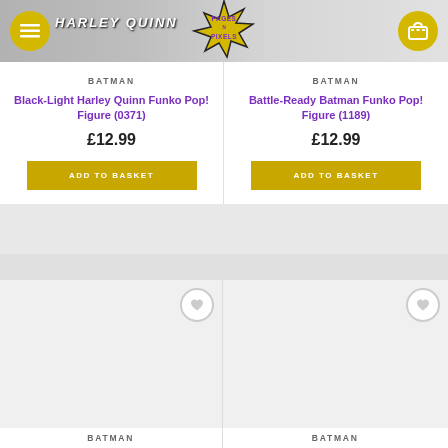[Figure (screenshot): Pages N Pixels website header with yellow hamburger menu button, Pages N Pixels logo, and yellow shopping cart button. Harley Quinn product image visible in background.]
BATMAN
Black-Light Harley Quinn Funko Pop! Figure (0371)
£12.99
ADD TO BASKET
BATMAN
Battle-Ready Batman Funko Pop! Figure (1189)
£12.99
ADD TO BASKET
BATMAN
BATMAN